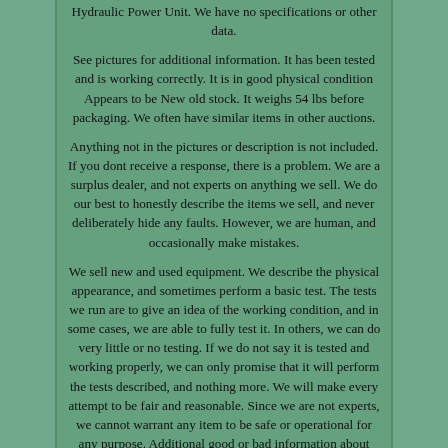Hydraulic Power Unit. We have no specifications or other data.
See pictures for additional information. It has been tested and is working correctly. It is in good physical condition Appears to be New old stock. It weighs 54 lbs before packaging. We often have similar items in other auctions.
Anything not in the pictures or description is not included. If you dont receive a response, there is a problem. We are a surplus dealer, and not experts on anything we sell. We do our best to honestly describe the items we sell, and never deliberately hide any faults. However, we are human, and occasionally make mistakes.
We sell new and used equipment. We describe the physical appearance, and sometimes perform a basic test. The tests we run are to give an idea of the working condition, and in some cases, we are able to fully test it. In others, we can do very little or no testing. If we do not say it is tested and working properly, we can only promise that it will perform the tests described, and nothing more. We will make every attempt to be fair and reasonable. Since we are not experts, we cannot warrant any item to be safe or operational for any purpose. Additional good or bad information about condition may appear in the item description, and we try to show any noticeable flaws in our pictures.